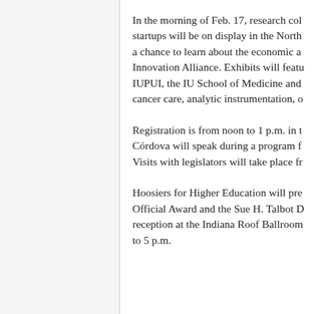In the morning of Feb. 17, research col startups will be on display in the North a chance to learn about the economic a Innovation Alliance. Exhibits will feat IUPUI, the IU School of Medicine and cancer care, analytic instrumentation, o
Registration is from noon to 1 p.m. in t Córdova will speak during a program f Visits with legislators will take place fr
Hoosiers for Higher Education will pre Official Award and the Sue H. Talbot D reception at the Indiana Roof Ballroom to 5 p.m.